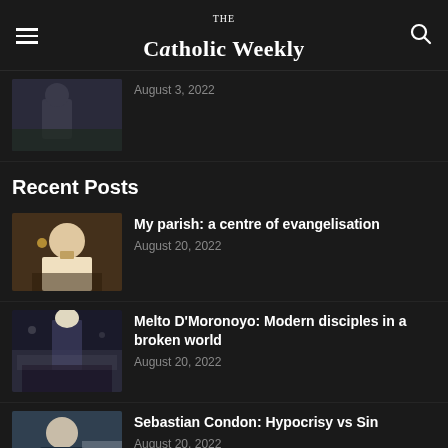The Catholic Weekly
August 3, 2022
Recent Posts
My parish: a centre of evangelisation
August 20, 2022
Melto D'Moronoyo: Modern disciples in a broken world
August 20, 2022
Sebastian Condon: Hypocrisy vs Sin
August 20, 2022